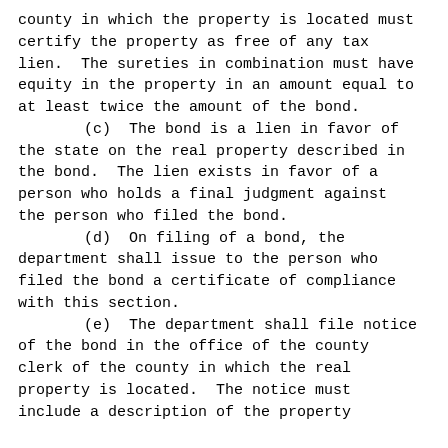county in which the property is located must certify the property as free of any tax lien.  The sureties in combination must have equity in the property in an amount equal to at least twice the amount of the bond.
        (c)  The bond is a lien in favor of the state on the real property described in the bond.  The lien exists in favor of a person who holds a final judgment against the person who filed the bond.
        (d)  On filing of a bond, the department shall issue to the person who filed the bond a certificate of compliance with this section.
        (e)  The department shall file notice of the bond in the office of the county clerk of the county in which the real property is located.  The notice must include a description of the property